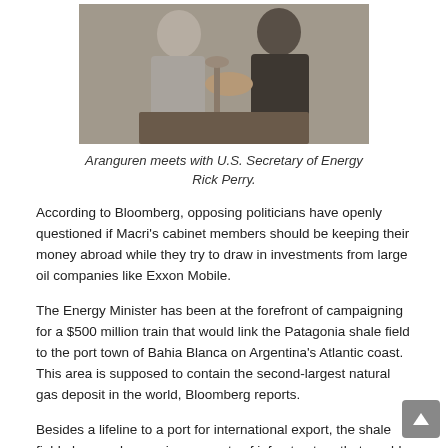[Figure (photo): Two men in suits shaking hands indoors; one in light grey suit, one in dark suit.]
Aranguren meets with U.S. Secretary of Energy Rick Perry.
According to Bloomberg, opposing politicians have openly questioned if Macri's cabinet members should be keeping their money abroad while they try to draw in investments from large oil companies like Exxon Mobile.
The Energy Minister has been at the forefront of campaigning for a $500 million train that would link the Patagonia shale field to the port town of Bahia Blanca on Argentina's Atlantic coast. This area is supposed to contain the second-largest natural gas deposit in the world, Bloomberg reports.
Besides a lifeline to a port for international export, the shale field also needs massive amounts of infrastructure that would cost billions of dollars for it to reach its enormous energy reserves from the